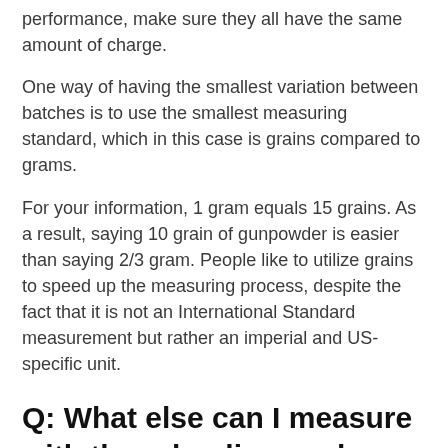performance, make sure they all have the same amount of charge.
One way of having the smallest variation between batches is to use the smallest measuring standard, which in this case is grains compared to grams.
For your information, 1 gram equals 15 grains. As a result, saying 10 grain of gunpowder is easier than saying 2/3 gram. People like to utilize grains to speed up the measuring process, despite the fact that it is not an International Standard measurement but rather an imperial and US-specific unit.
Q: What else can I measure with the reloading scale other than powder charge?